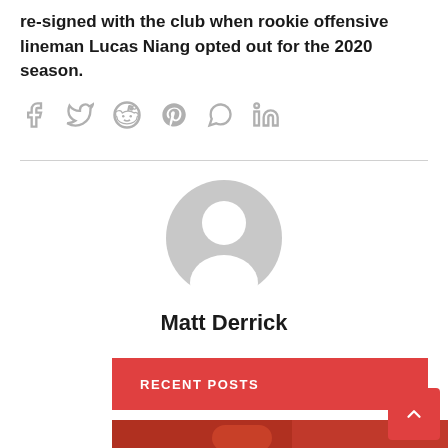re-signed with the club when rookie offensive lineman Lucas Niang opted out for the 2020 season.
[Figure (other): Social media share icons: Facebook, Twitter, Reddit, Pinterest, WhatsApp, LinkedIn]
[Figure (other): Generic user/author avatar circle with person silhouette in gray]
Matt Derrick
RECENT POSTS
[Figure (photo): Football players in red jerseys on the field, partially visible at bottom of page]